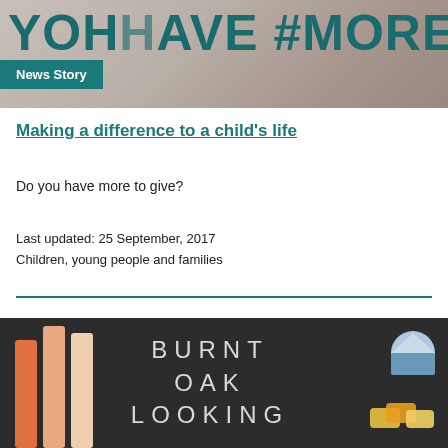[Figure (photo): Top banner image showing people with overlaid text '#MORE2GI' in teal/dark green large letters, with a 'News Story' badge label in teal box]
Making a difference to a child's life
Do you have more to give?
Last updated: 25 September, 2017
Children, young people and families
[Figure (logo): Burnt Oak Looking logo on dark background with colorful vertical stripes on left and stylized icons on right, text reads 'BURNT OAK LOOKING']